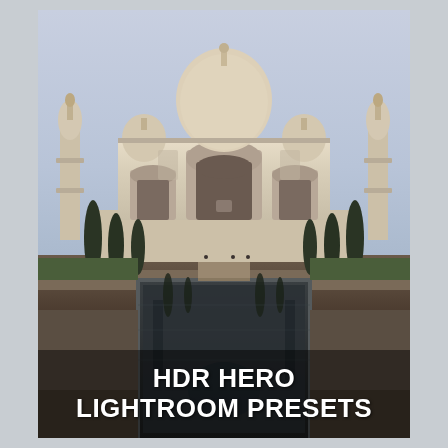[Figure (photo): Photograph of the Taj Mahal in Agra, India. The iconic white marble mausoleum is centered with its large central dome and four flanking minarets. Tall dark cypress trees line the reflecting pool in the foreground, which mirrors the building and sky. The sky is a soft blue-gray at what appears to be early morning or dusk. Visitors are visible near the base of the building.]
HDR HERO LIGHTROOM PRESETS